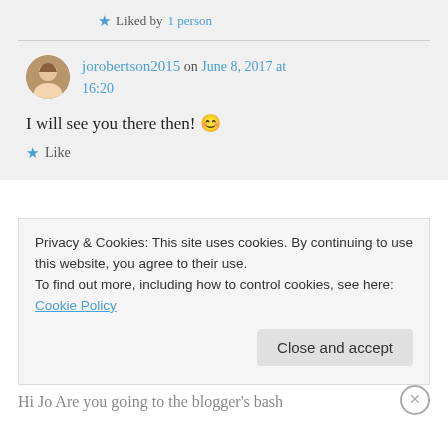★ Liked by 1 person
jorobertson2015 on June 8, 2017 at 16:20
I will see you there then! 😊
★ Like
Privacy & Cookies: This site uses cookies. By continuing to use this website, you agree to their use.
To find out more, including how to control cookies, see here: Cookie Policy
Close and accept
Hi Jo Are you going to the blogger's bash